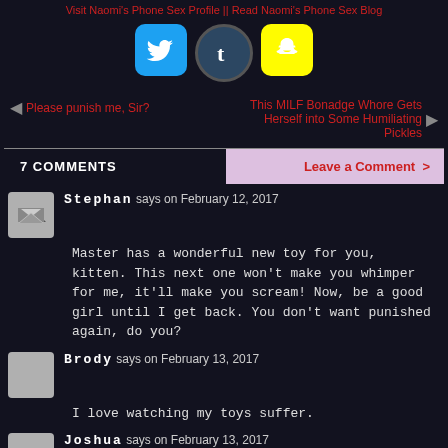Visit Naomi's Phone Sex Profile || Read Naomi's Phone Sex Blog
[Figure (logo): Three social media icons: Twitter (blue bird), Tumblr (dark circle with T), Snapchat (yellow square with ghost)]
◄ Please punish me, Sir?
This MILF Bonadge Whore Gets Herself into Some Humiliating Pickles ►
7 COMMENTS
Leave a Comment >
Stephan says on February 12, 2017
Master has a wonderful new toy for you, kitten. This next one won't make you whimper for me, it'll make you scream! Now, be a good girl until I get back. You don't want punished again, do you?
Brody says on February 13, 2017
I love watching my toys suffer.
Joshua says on February 13, 2017